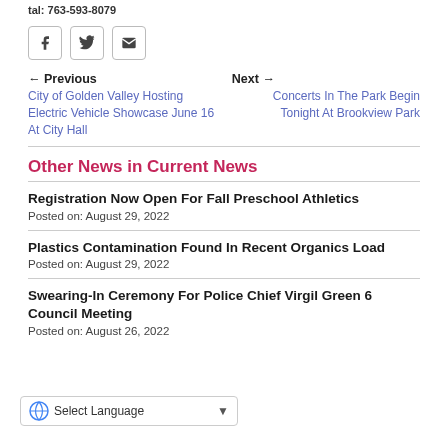tal: 763-593-8079
[Figure (other): Social share icons: Facebook, Twitter, Email]
← Previous   City of Golden Valley Hosting Electric Vehicle Showcase June 16 At City Hall
Next →   Concerts In The Park Begin Tonight At Brookview Park
Other News in Current News
Registration Now Open For Fall Preschool Athletics
Posted on: August 29, 2022
Plastics Contamination Found In Recent Organics Load
Posted on: August 29, 2022
Swearing-In Ceremony For Police Chief Virgil Green 6 Council Meeting
Posted on: August 26, 2022
[Figure (screenshot): Select Language dropdown widget (Google Translate)]